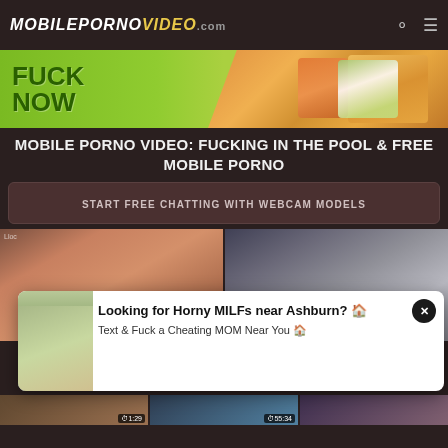MOBILEPORNOVIDEO.com
[Figure (photo): Advertisement banner with text FUCK NOW and cartoon figures]
MOBILE PORNO VIDEO: FUCKING IN THE POOL & FREE MOBILE PORNO
START FREE CHATTING WITH WEBCAM MODELS
[Figure (photo): Video thumbnail left - Asian woman, duration 1:38:09, watermark lloc]
[Figure (photo): Video thumbnail right - blonde woman, duration 11:30]
[Figure (photo): Popup with woman photo. Text: Looking for Horny MILFs near Ashburn? Text & Fuck a Cheating MOM Near You]
[Figure (photo): Bottom row video thumbnails with duration 1:29, 55:34 and one more]